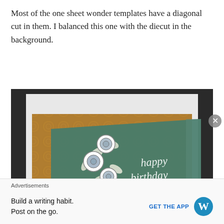Most of the one sheet wonder templates have a diagonal cut in them. I balanced this one with the diecut in the background.
[Figure (photo): Close-up photo of a handmade birthday card. The card features a gold embossed background with an ornate damask pattern, topped with a teal/green glittered layer placed diagonally. A white diecut of roses and leaves is prominently placed on the card. Cursive white text reads 'happy birthday'.]
Advertisements
Build a writing habit. Post on the go.
GET THE APP